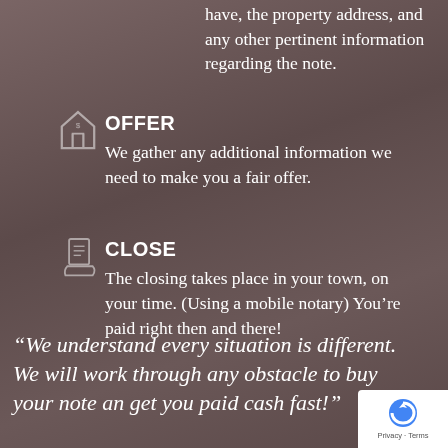have, the property address, and any other pertinent information regarding the note.
OFFER
We gather any additional information we need to make you a fair offer.
CLOSE
The closing takes place in your town, on your time. (Using a mobile notary) You're paid right then and there!
“We understand every situation is different. We will work through any obstacle to buy your note and get you paid cash fast!”